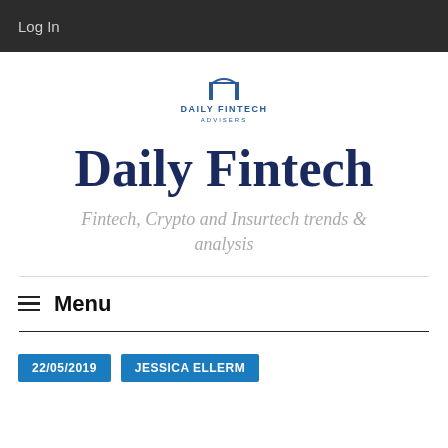Log In
[Figure (logo): Daily Fintech Advisers logo — arch icon above 'DAILY FINTECH' and 'ADVISERS' text in blue]
Daily Fintech
Fintech, Crypto and Insurtech trends & analysis
Menu
22/05/2019
JESSICA ELLERM